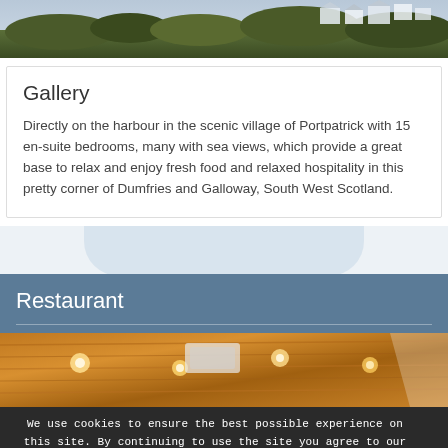[Figure (photo): Top portion of a scenic outdoor photograph showing trees, vegetation, and white buildings in what appears to be a coastal village setting]
Gallery
Directly on the harbour in the scenic village of Portpatrick with 15 en-suite bedrooms, many with sea views, which provide a great base to relax and enjoy fresh food and relaxed hospitality in this pretty corner of Dumfries and Galloway, South West Scotland.
Restaurant
[Figure (photo): Interior restaurant photograph showing wooden paneled ceiling with decorative recessed lighting fixtures, warm amber tones]
We use cookies to ensure the best possible experience on this site. By continuing to use the site you agree to our use of cookies. ✕ Close